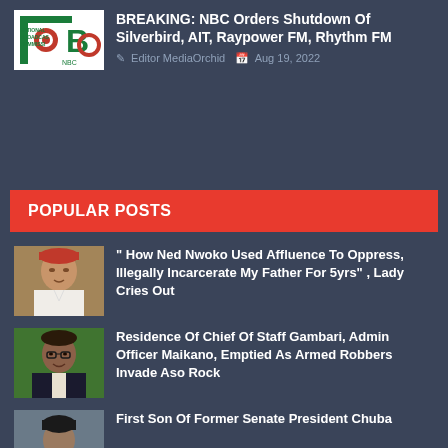[Figure (logo): NBC National Broadcasting Commission logo — green and red on white background]
BREAKING: NBC Orders Shutdown Of Silverbird, AIT, Raypower FM, Rhythm FM
Editor MediaOrchid   Aug 19, 2022
POPULAR POSTS
[Figure (photo): Man wearing red traditional cap and white attire]
" How Ned Nwoko Used Affluence To Oppress, Illegally Incarcerate My Father For 5yrs" , Lady Cries Out
[Figure (photo): Elderly man in dark suit with glasses]
Residence Of Chief Of Staff Gambari, Admin Officer Maikano, Emptied As Armed Robbers Invade Aso Rock
[Figure (photo): Person partially visible at bottom of page]
First Son Of Former Senate President Chuba